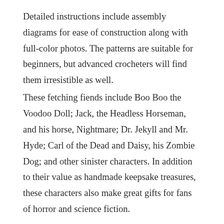Detailed instructions include assembly diagrams for ease of construction along with full-color photos. The patterns are suitable for beginners, but advanced crocheters will find them irresistible as well.
These fetching fiends include Boo Boo the Voodoo Doll; Jack, the Headless Horseman, and his horse, Nightmare; Dr. Jekyll and Mr. Hyde; Carl of the Dead and Daisy, his Zombie Dog; and other sinister characters. In addition to their value as handmade keepsake treasures, these characters also make great gifts for fans of horror and science fiction.